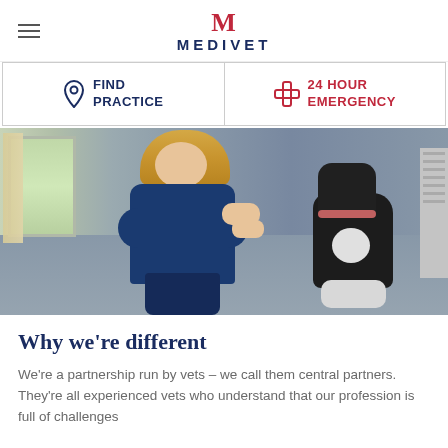MEDIVET
FIND PRACTICE
24 HOUR EMERGENCY
[Figure (photo): A female vet in blue scrubs kneeling on a grey floor, hugging and examining a large black and white dog in a clinical room with a window, curtains, and radiator visible in the background.]
Why we’re different
We’re a partnership run by vets – we call them central partners. They’re all experienced vets who understand that our profession is full of challenges